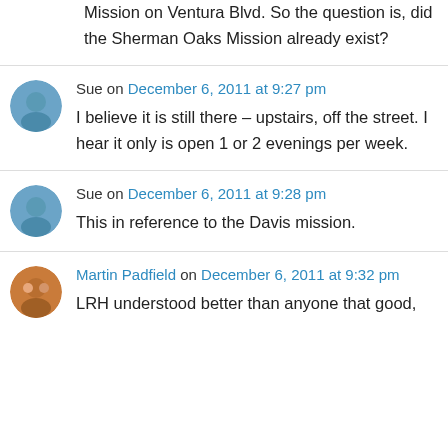Mission on Ventura Blvd. So the question is, did the Sherman Oaks Mission already exist?
Sue on December 6, 2011 at 9:27 pm
I believe it is still there – upstairs, off the street. I hear it only is open 1 or 2 evenings per week.
Sue on December 6, 2011 at 9:28 pm
This in reference to the Davis mission.
Martin Padfield on December 6, 2011 at 9:32 pm
LRH understood better than anyone that good,